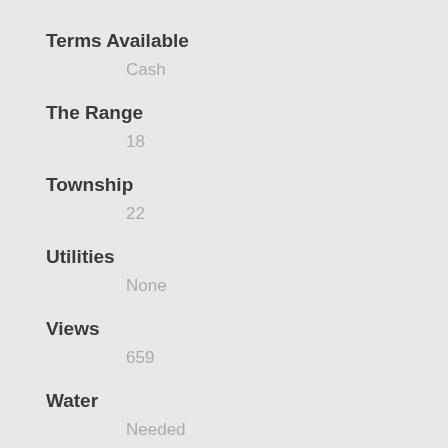Terms Available
Cash
The Range
18
Township
22
Utilities
None
Views
659
Water
Needed